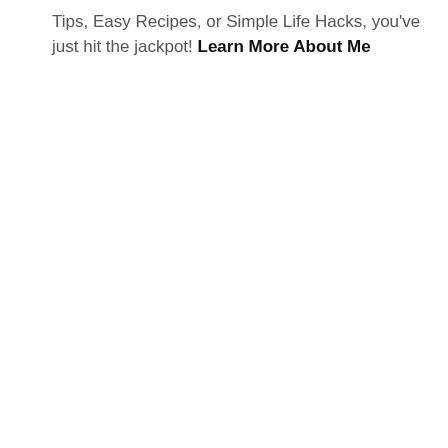Tips, Easy Recipes, or Simple Life Hacks, you've just hit the jackpot! Learn More About Me